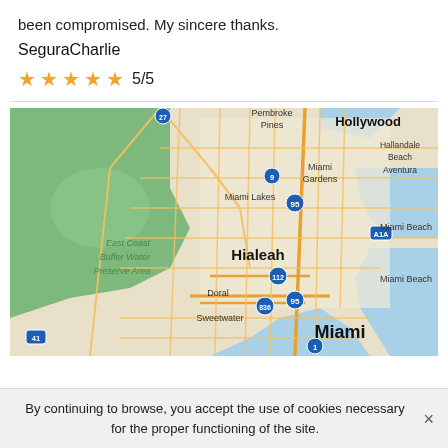been compromised. My sincere thanks.
SeguraCharlie
★★★★★ 5/5
[Figure (map): Google Maps screenshot showing the Miami, Florida area including Hialeah, Doral, Miami Lakes, Miami Gardens, Hollywood, Hallandale Beach, Aventura, Miami Beach, Sweetwater, East Coast Buffer Water Preserve Area, and major highways including I-95, I-836, SR-112, SR-836, A1A, US-1, and US-27/41.]
By continuing to browse, you accept the use of cookies necessary for the proper functioning of the site.